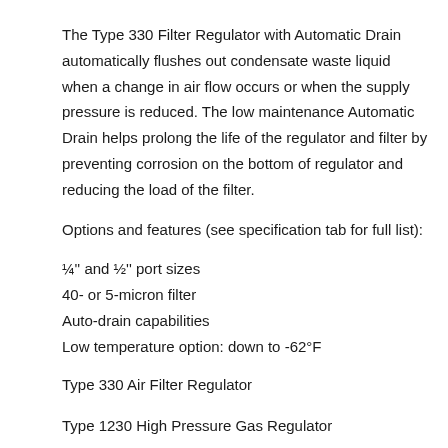The Type 330 Filter Regulator with Automatic Drain automatically flushes out condensate waste liquid when a change in air flow occurs or when the supply pressure is reduced. The low maintenance Automatic Drain helps prolong the life of the regulator and filter by preventing corrosion on the bottom of regulator and reducing the load of the filter.
Options and features (see specification tab for full list):
¼'' and ½'' port sizes
40- or 5-micron filter
Auto-drain capabilities
Low temperature option: down to -62°F
Type 330 Air Filter Regulator
Type 1230 High Pressure Gas Regulator